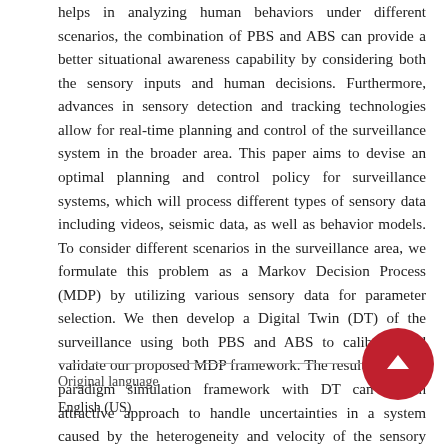helps in analyzing human behaviors under different scenarios, the combination of PBS and ABS can provide a better situational awareness capability by considering both the sensory inputs and human decisions. Furthermore, advances in sensory detection and tracking technologies allow for real-time planning and control of the surveillance system in the broader area. This paper aims to devise an optimal planning and control policy for surveillance systems, which will process different types of sensory data including videos, seismic data, as well as behavior models. To consider different scenarios in the surveillance area, we formulate this problem as a Markov Decision Process (MDP) by utilizing various sensory data for parameter selection. We then develop a Digital Twin (DT) of the surveillance using both PBS and ABS to calibrate and validate our proposed MDP framework. The resulting multi-paradigm simulation framework with DT can be an attractive approach to handle uncertainties in a system caused by the heterogeneity and velocity of the sensory data.
Original language
English (US)